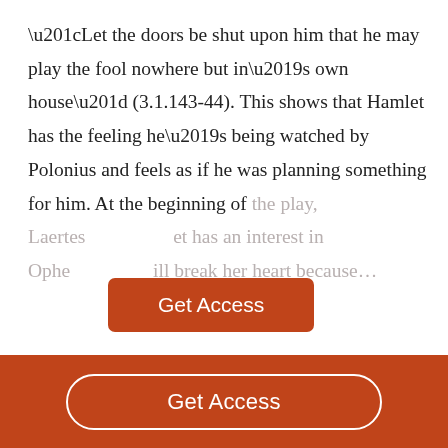“Let the doors be shut upon him that he may play the fool nowhere but in’s own house” (3.1.143-44). This shows that Hamlet has the feeling he’s being watched by Polonius and feels as if he was planning something for him. At the beginning of the play, Laertes [obscured] Hamlet has an interest in Ophelia [obscured] will break her heart because…
[Figure (other): Orange 'Get Access' button overlaid on faded text]
[Figure (other): Orange footer bar with white rounded 'Get Access' button]